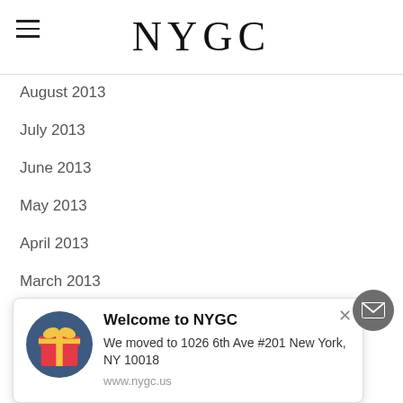NYGC
August 2013
July 2013
June 2013
May 2013
April 2013
March 2013
February 2013
January 2013
December 2012
November 2012
October 2012
September 2012
August 2012
Welcome to NYGC
We moved to 1026 6th Ave #201 New York, NY 10018
www.nygc.us